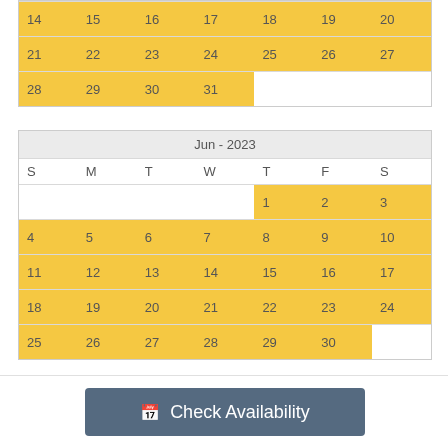| S | M | T | W | T | F | S |
| --- | --- | --- | --- | --- | --- | --- |
| 14 | 15 | 16 | 17 | 18 | 19 | 20 |
| 21 | 22 | 23 | 24 | 25 | 26 | 27 |
| 28 | 29 | 30 | 31 |  |  |  |
| S | M | T | W | T | F | S |
| --- | --- | --- | --- | --- | --- | --- |
|  |  |  |  | 1 | 2 | 3 |
| 4 | 5 | 6 | 7 | 8 | 9 | 10 |
| 11 | 12 | 13 | 14 | 15 | 16 | 17 |
| 18 | 19 | 20 | 21 | 22 | 23 | 24 |
| 25 | 26 | 27 | 28 | 29 | 30 |  |
Check Availability